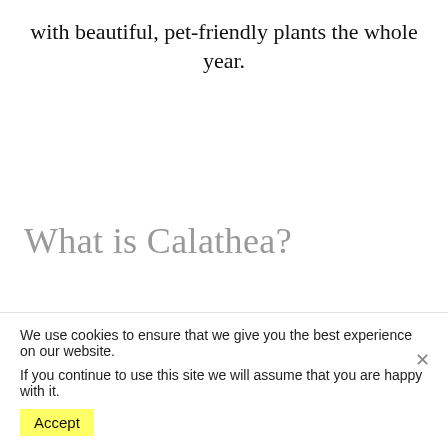with beautiful, pet-friendly plants the whole year.
What is Calathea?
This evergreen, low-ground tropical plant is famous for
We use cookies to ensure that we give you the best experience on our website.
If you continue to use this site we will assume that you are happy with it.
Accept